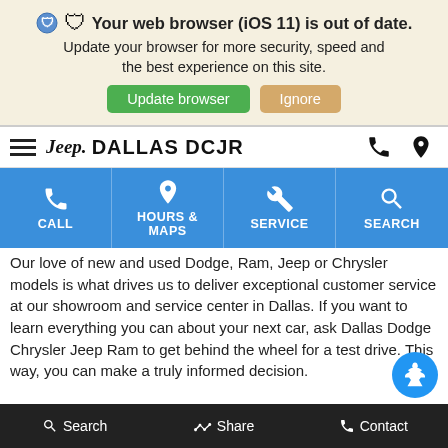[Figure (screenshot): Browser out-of-date warning banner with shield icon, bold text 'Your web browser (iOS 11) is out of date.', subtitle text, green 'Update browser' button and tan 'Ignore' button]
[Figure (screenshot): Jeep Dallas DCJR dealership website navigation bar with hamburger menu, Jeep logo, brand name, phone and location icons]
[Figure (screenshot): Blue navigation row with four items: CALL (phone icon), HOURS & MAPS (location icon), SERVICE (wrench icon), SEARCH (magnifier icon)]
Our love of new and used Dodge, Ram, Jeep or Chrysler models is what drives us to deliver exceptional customer service at our showroom and service center in Dallas. If you want to learn everything you can about your next car, ask Dallas Dodge Chrysler Jeep Ram to get behind the wheel for a test drive. This way, you can make a truly informed decision.
Disclaimer:
Search   Share   Contact